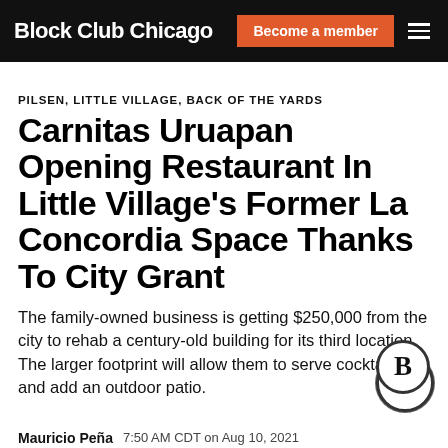Block Club Chicago | Become a member
PILSEN, LITTLE VILLAGE, BACK OF THE YARDS
Carnitas Uruapan Opening Restaurant In Little Village's Former La Concordia Space Thanks To City Grant
The family-owned business is getting $250,000 from the city to rehab a century-old building for its third location. The larger footprint will allow them to serve cocktails and add an outdoor patio.
Mauricio Peña   7:50 AM CDT on Aug 10, 2021